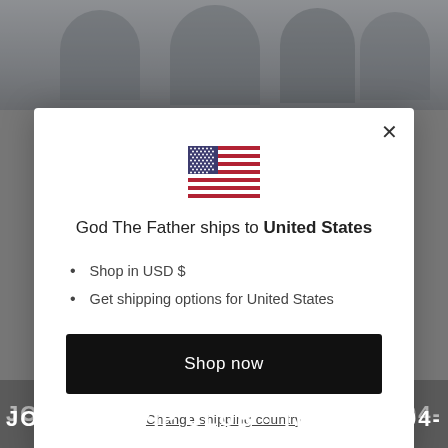[Figure (screenshot): Background: blurred website with people images at top, dark bar at bottom with VIP club text]
[Figure (illustration): US flag emoji/icon centered in modal]
God The Father ships to United States
Shop in USD $
Get shipping options for United States
Shop now
Change shipping country
JOIN OUR VIP CLUB - TEXT +1 604-